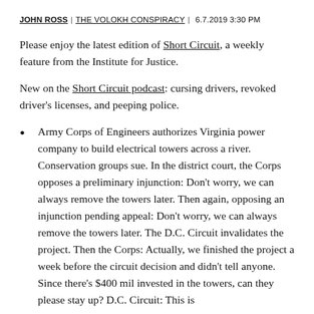JOHN ROSS | THE VOLOKH CONSPIRACY | 6.7.2019 3:30 PM
Please enjoy the latest edition of Short Circuit, a weekly feature from the Institute for Justice.
New on the Short Circuit podcast: cursing drivers, revoked driver's licenses, and peeping police.
Army Corps of Engineers authorizes Virginia power company to build electrical towers across a river. Conservation groups sue. In the district court, the Corps opposes a preliminary injunction: Don't worry, we can always remove the towers later. Then again, opposing an injunction pending appeal: Don't worry, we can always remove the towers later. The D.C. Circuit invalidates the project. Then the Corps: Actually, we finished the project a week before the circuit decision and didn't tell anyone. Since there's $400 mil invested in the towers, can they please stay up? D.C. Circuit: This is